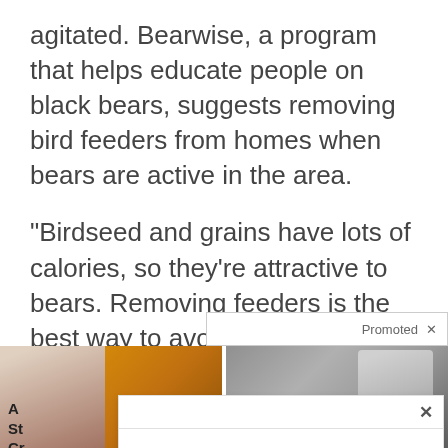agitated. Bearwise, a program that helps educate people on black bears, suggests removing bird feeders from homes when bears are active in the area.
"Birdseed and grains have lots of calories, so they're attractive to bears. Removing feeders is the best way to avoid creating conflicts with bears," the website says.
[Figure (screenshot): A promoted advertisement banner with two thumbnail images (woman with food on left, person hunched over on right) and a white popup overlay with a close button (x) partially covering them. Below the left image partial text reads 'A', 'St', 'Cr' with a flame/fire icon.]